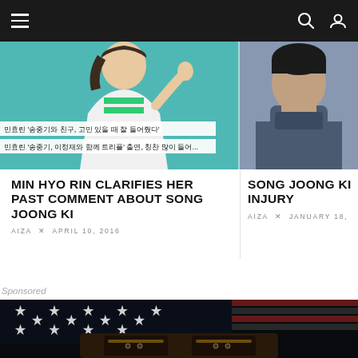Navigation bar with menu, search, and user icons
[Figure (photo): Korean TV show screenshot: woman in white jacket and green striped shirt waving, with Korean text banners overlaid]
[Figure (photo): Man in dark grey turtleneck sweater, partial upper body shot]
MIN HYO RIN CLARIFIES HER PAST COMMENT ABOUT SONG JOONG KI
AIZA × APRIL 10, 2016
SONG JOONG KI INJURY
AIZA × JANUARY 18,
Sponsored
[Figure (photo): American flag with stars visible in dark background, leather items (boots/belt) in the foreground]